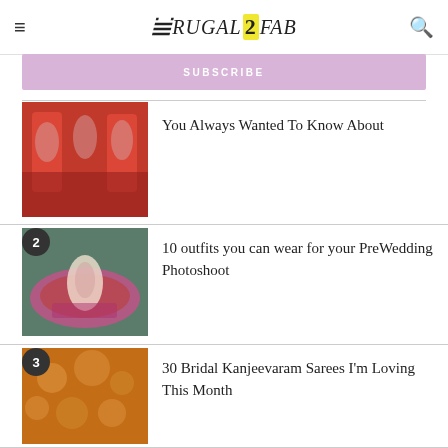FRUGAL2FAB
SUBSCRIBE
[Figure (photo): Partial article image showing women in red bridal Indian outfits with the title 'You Always Wanted To Know About']
You Always Wanted To Know About
[Figure (photo): Article thumbnail numbered 2 showing a woman in a floral outfit for pre-wedding photoshoot]
10 outfits you can wear for your PreWedding Photoshoot
[Figure (photo): Article thumbnail numbered 3 showing close-up of bridal Kanjeevaram saree fabric]
30 Bridal Kanjeevaram Sarees I'm Loving This Month